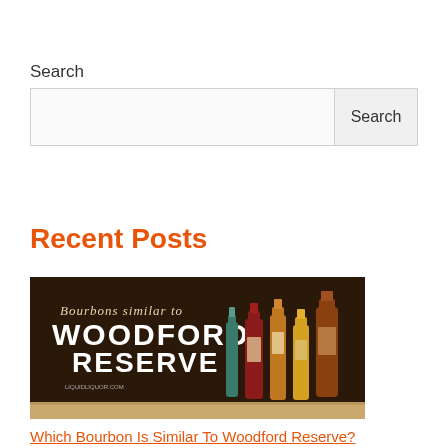Search
Search
Recent Posts
[Figure (photo): Promotional image for bourbons similar to Woodford Reserve, showing several bourbon bottles on a wooden surface against a dark brown background with text 'Bourbons similar to WOODFORD RESERVE']
Which Bourbon Is Similar To Woodford Reserve?